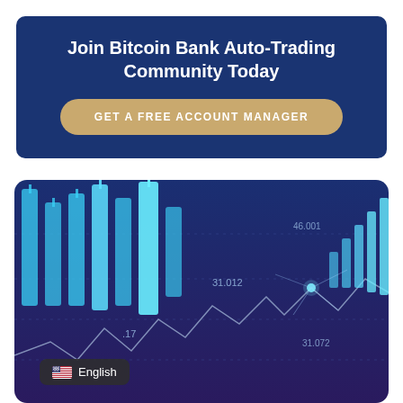Join Bitcoin Bank Auto-Trading Community Today
GET A FREE ACCOUNT MANAGER
[Figure (illustration): Dark blue financial trading chart background with candlestick bars and line graphs, showing price levels labeled 31.012, 31.072, with glowing blue candlestick bars on left and ascending line chart pattern on right]
English